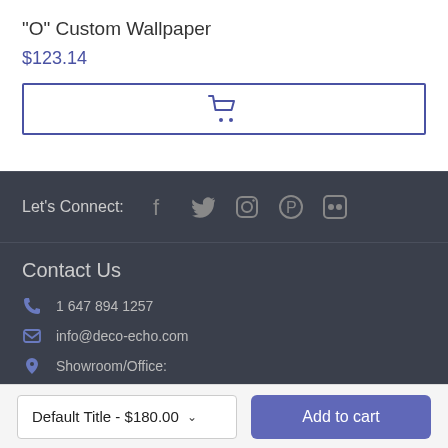"O" Custom Wallpaper
$123.14
[Figure (other): Add to cart button with shopping cart icon, outlined in indigo/blue border]
Let's Connect:
[Figure (other): Social media icons: Facebook, Twitter, Instagram, Pinterest, Flickr]
Contact Us
1 647 894 1257
info@deco-echo.com
Showroom/Office:
Default Title - $180.00
Add to cart